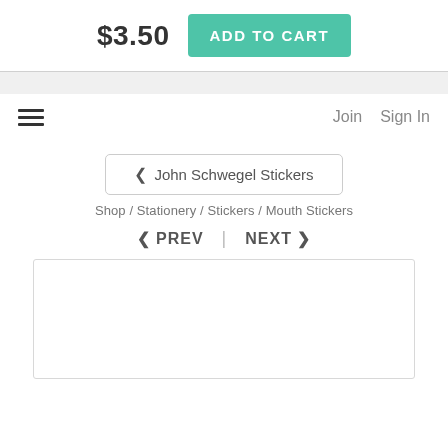$3.50  ADD TO CART
≡   Join   Sign In
< John Schwegel Stickers
Shop / Stationery / Stickers / Mouth Stickers
< PREV  |  NEXT >
[Figure (other): Empty white product image box with light gray border]